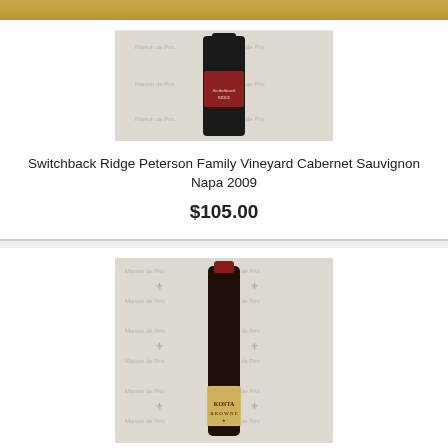[Figure (photo): Wine bottle photo for Switchback Ridge Peterson Family Vineyard Cabernet Sauvignon Napa 2009 against a branded Maison de Prix backdrop]
Switchback Ridge Peterson Family Vineyard Cabernet Sauvignon Napa 2009
$105.00
[Figure (photo): Wine bottle photo for Kosta Browne wine against a branded Maison de Prix backdrop]